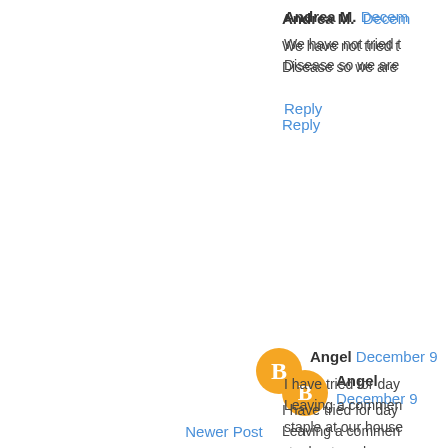Andrea M. Decem...
We have not tried t... Disease so we are...
Reply
[Figure (illustration): Orange circular Blogger avatar icon with white B logo]
Angel December 9...
I have tried for day... Leaving a commen... staple at our house...
Reply
[Figure (illustration): Gray default user avatar icon]
Enter Comment
Newer Post